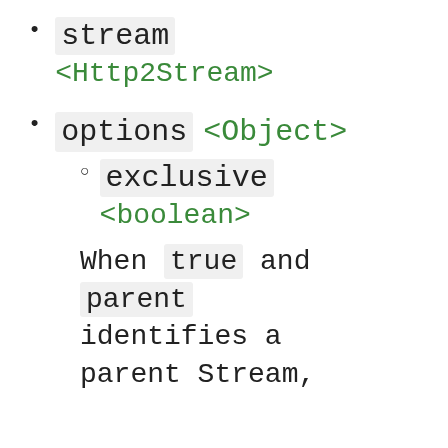stream <Http2Stream>
options <Object>
  exclusive <boolean>
  When true and parent identifies a parent Stream.